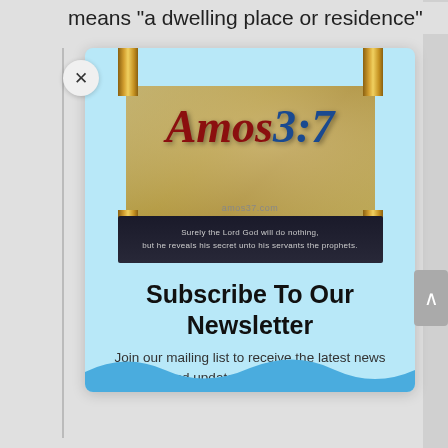means “a dwelling place or residence”
[Figure (logo): Amos 3:7 website logo showing a decorative Torah scroll graphic with 'Amos 3:7' text in red and blue serif font, with the URL 'amos37.com' below it, and a dark banner beneath reading 'Surely the Lord God will do nothing, but he reveals his secret unto his servants the prophets.']
Subscribe To Our Newsletter
Join our mailing list to receive the latest news and updates from our team.